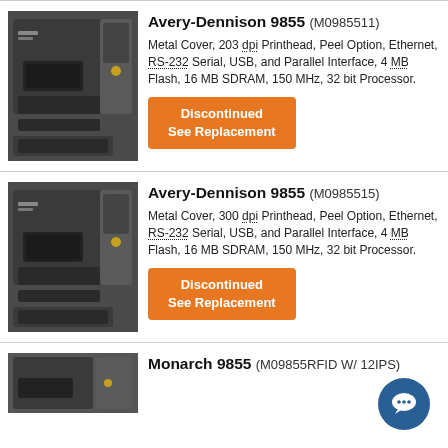Avery-Dennison 9855 (M0985511)
Metal Cover, 203 dpi Printhead, Peel Option, Ethernet, RS-232 Serial, USB, and Parallel Interface, 4 MB Flash, 16 MB SDRAM, 150 MHz, 32 bit Processor.
Discontinued See Replacement
Avery-Dennison 9855 (M0985515)
Metal Cover, 300 dpi Printhead, Peel Option, Ethernet, RS-232 Serial, USB, and Parallel Interface, 4 MB Flash, 16 MB SDRAM, 150 MHz, 32 bit Processor.
Discontinued See Replacement
Monarch 9855 (M09855RFID W/ 12IPS)